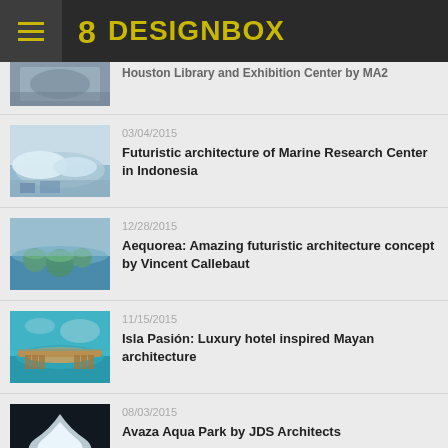8DESIGNBOX
Houston Library and Exhibition Center by MA2
Futuristic architecture of Marine Research Center in Indonesia
Aequorea: Amazing futuristic architecture concept by Vincent Callebaut
Isla Pasión: Luxury hotel inspired Mayan architecture
Avaza Aqua Park by JDS Architects